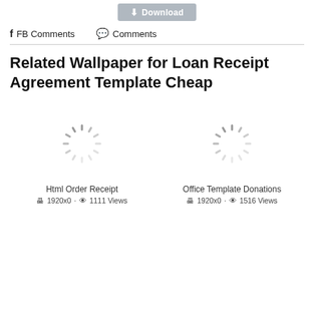[Figure (other): Download button with arrow icon]
f FB Comments   💬 Comments
Related Wallpaper for Loan Receipt Agreement Template Cheap
[Figure (other): Loading spinner thumbnail for Html Order Receipt]
Html Order Receipt
🖥 1920x0 · 👁 1111 Views
[Figure (other): Loading spinner thumbnail for Office Template Donations]
Office Template Donations
🖥 1920x0 · 👁 1516 Views